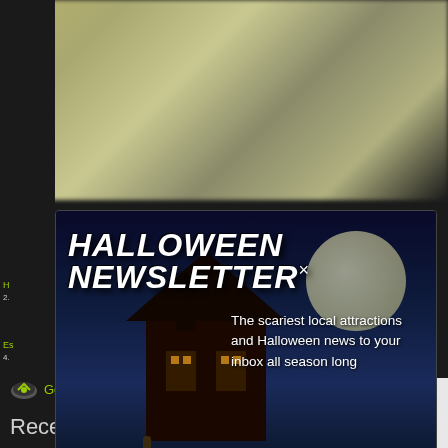[Figure (screenshot): Halloween Newsletter modal popup overlay on a dark website. Contains a jack-o-lantern pumpkin, haunted house silhouette, spooky night scene with moon. Title reads HALLOWEEN NEWSLETTER with a close X. Text: The scariest local attractions and Halloween news to your inbox all season long. Indiana Edition. Email input field and orange Join button.]
The scariest local attractions and Halloween news to your inbox all season long
• Indiana Edition •
[your email]
Join
Get Directions
Recent Reviews